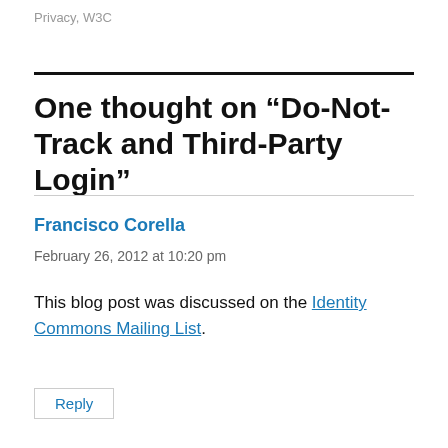Privacy, W3C
One thought on “Do-Not-Track and Third-Party Login”
Francisco Corella
February 26, 2012 at 10:20 pm
This blog post was discussed on the Identity Commons Mailing List.
Reply